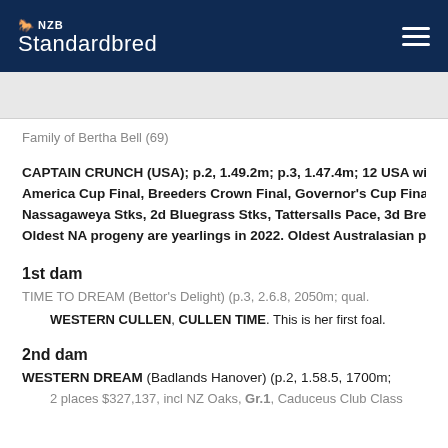NZB Standardbred
Family of Bertha Bell (69)
CAPTAIN CRUNCH (USA); p.2, 1.49.2m; p.3, 1.47.4m; 12 USA wins America Cup Final, Breeders Crown Final, Governor's Cup Final, G Nassagaweya Stks, 2d Bluegrass Stks, Tattersalls Pace, 3d Bree Oldest NA progeny are yearlings in 2022. Oldest Australasian pr
1st dam
TIME TO DREAM (Bettor's Delight) (p.3, 2.6.8, 2050m; qual.
WESTERN CULLEN, CULLEN TIME. This is her first foal.
2nd dam
WESTERN DREAM (Badlands Hanover) (p.2, 1.58.5, 1700m;
2 places $327,137, incl NZ Oaks, Gr.1, Caduceus Club Class